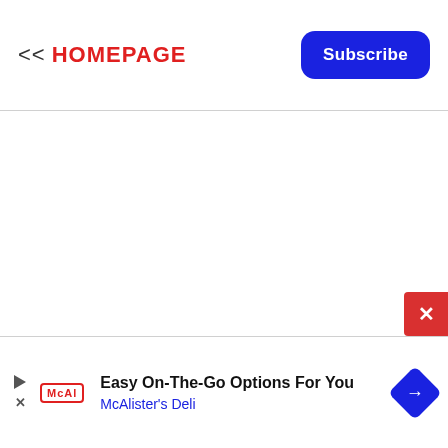<< HOMEPAGE  Subscribe
[Figure (infographic): Advertisement banner for McAlister's Deli with play and close icons, McAl logo, text 'Easy On-The-Go Options For You' and 'McAlister's Deli', and a blue diamond arrow icon]